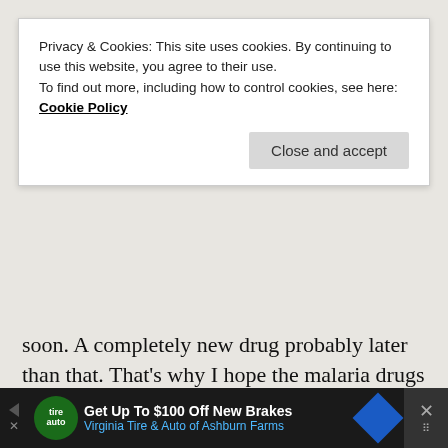soon. A completely new drug probably later than that. That's why I hope the malaria drugs might help.
I doubt we'll repeat the NYC experience in many other cities in the US. NYC was the perfect storm:
High population density
Cold climate
Lots of people taking public transportation
Local politicians ignored the crisis for too
[Figure (screenshot): Cookie consent banner: 'Privacy & Cookies: This site uses cookies. By continuing to use this website, you agree to their use. To find out more, including how to control cookies, see here: Cookie Policy' with a 'Close and accept' button]
[Figure (screenshot): Advertisement bar at bottom: 'Get Up To $100 Off New Brakes Virginia Tire & Auto of Ashburn Farms' with logo and navigation arrow icons]